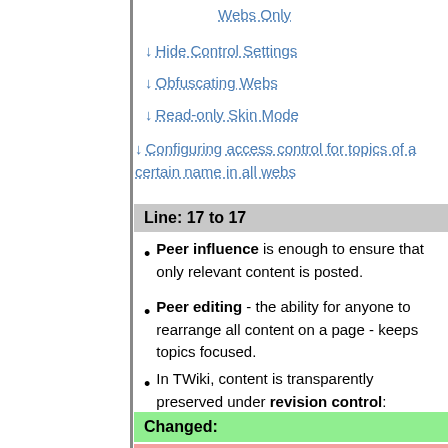Webs Only
Hide Control Settings
Obfuscating Webs
Read-only Skin Mode
Configuring access control for topics of a certain name in all webs
Line: 17 to 17
Peer influence is enough to ensure that only relevant content is posted.
Peer editing - the ability for anyone to rearrange all content on a page - keeps topics focused.
In TWiki, content is transparently preserved under revision control:
Changed:
Edits can be undone by the TWikiAdminGroup (the default administrators group; see #ManagingGroups).